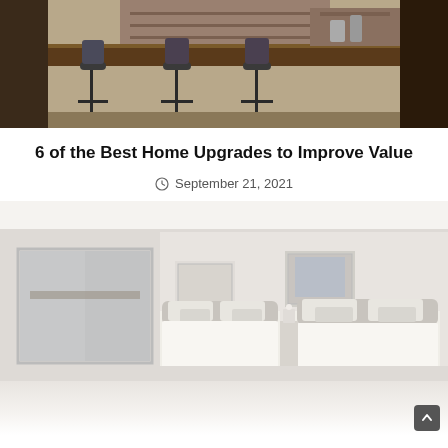[Figure (photo): Outdoor bar/kitchen area with dark metal bar stools and a wooden countertop, viewed through a doorway frame]
6 of the Best Home Upgrades to Improve Value
September 21, 2021
[Figure (photo): Bright bedroom interior with two beds, white bedding, decorative pillows, artwork on walls, and sliding glass door with natural light]